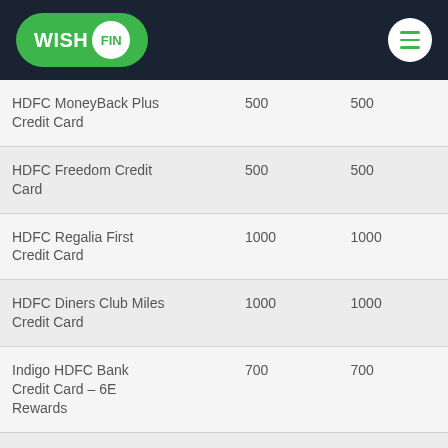WISH FIN
|  |  |  |
| --- | --- | --- |
| HDFC MoneyBack Plus Credit Card | 500 | 500 |
| HDFC Freedom Credit Card | 500 | 500 |
| HDFC Regalia First Credit Card | 1000 | 1000 |
| HDFC Diners Club Miles Credit Card | 1000 | 1000 |
| Indigo HDFC Bank Credit Card – 6E Rewards | 700 | 700 |
| 6E Rewards XL- Indigo HDFC Credit Card | 2500 | 2500 |
| Infinia Miles HDFC Bank... | 5000 | 5000 |